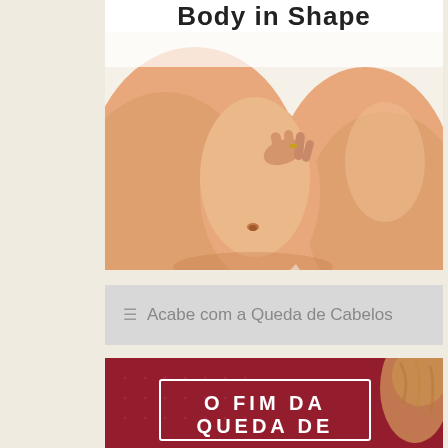Body in Shape
[Figure (photo): Close-up photo of a person's midsection and leg, skin-tone, on white background. Someone's hand appears to be touching/pinching the belly area.]
≡ Acabe com a Queda de Cabelos
[Figure (photo): Red/maroon background promotional image with overlaid white bold text reading 'O FIM DA QUEDA DE' and a person with light hair visible on the right side.]